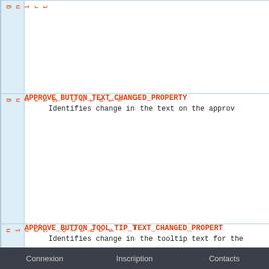| Type | Field/Property | Description |
| --- | --- | --- |
| static String |  |  |
| static String | APPROVE_BUTTON_TEXT_CHANGED_PROPERTY | Identifies change in the text on the approv |
| static String | APPROVE_BUTTON_TOOL_TIP_TEXT_CHANGED_PROPERT | Identifies change in the tooltip text for the |
Connexion   Inscription   Contacts